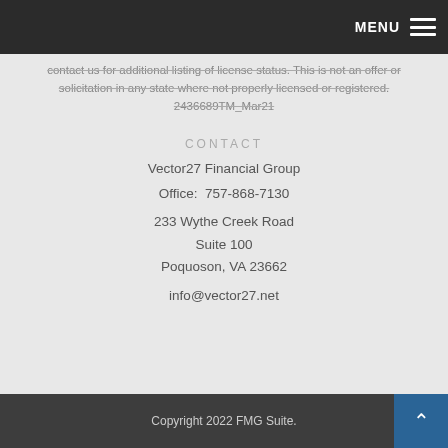MENU ☰
contact us for additional listing of license status. This is not an offer or solicitation in any state where not properly licensed or registered. 2436689TM_Mar21
CONTACT
Vector27 Financial Group
Office:  757-868-7130
233 Wythe Creek Road
Suite 100
Poquoson, VA 23662
info@vector27.net
Copyright 2022 FMG Suite.